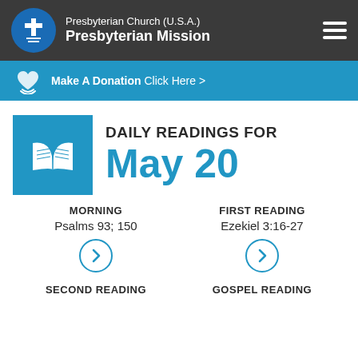Presbyterian Church (U.S.A.) Presbyterian Mission
Make A Donation Click Here >
DAILY READINGS FOR May 20
MORNING
Psalms 93; 150
FIRST READING
Ezekiel 3:16-27
SECOND READING
GOSPEL READING